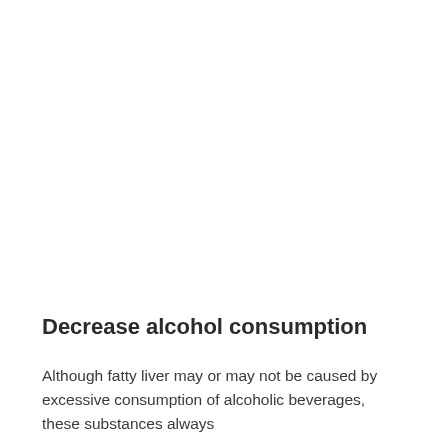Decrease alcohol consumption
Although fatty liver may or may not be caused by excessive consumption of alcoholic beverages, these substances always